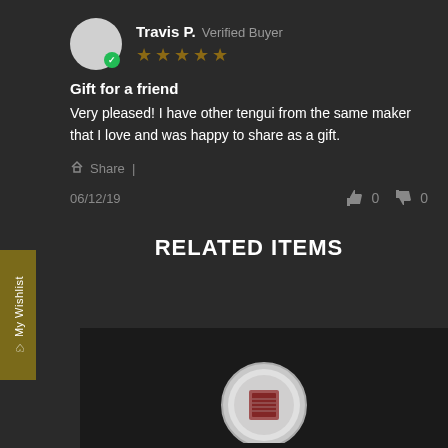Travis P. Verified Buyer
★★★★★ (5 stars)
Gift for a friend
Very pleased! I have other tengui from the same maker that I love and was happy to share as a gift.
Share
06/12/19  👍 0  👎 0
RELATED ITEMS
[Figure (photo): Product image in the related items section, showing a circular metallic item on dark background]